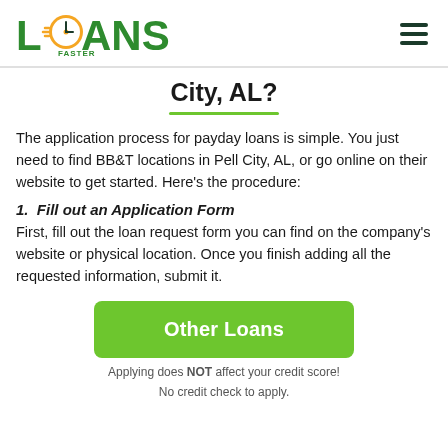[Figure (logo): Loans Faster logo with clock icon and green text]
City, AL?
The application process for payday loans is simple. You just need to find BB&T locations in Pell City, AL, or go online on their website to get started. Here’s the procedure:
1. Fill out an Application Form
First, fill out the loan request form you can find on the company’s website or physical location. Once you finish adding all the requested information, submit it.
[Figure (other): Green button labeled Other Loans]
Applying does NOT affect your credit score!
No credit check to apply.